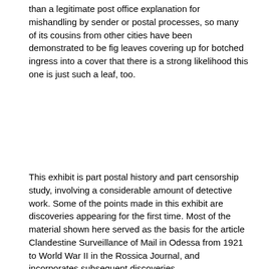than a legitimate post office explanation for mishandling by sender or postal processes, so many of its cousins from other cities have been demonstrated to be fig leaves covering up for botched ingress into a cover that there is a strong likelihood this one is just such a leaf, too.
This exhibit is part postal history and part censorship study, involving a considerable amount of detective work. Some of the points made in this exhibit are discoveries appearing for the first time. Most of the material shown here served as the basis for the article Clandestine Surveillance of Mail in Odessa from 1921 to World War II in the Rossica Journal, and incorporates subsequent discoveries.
The three triangles material is generally common (with the exception of one type, which is exceedingly rare). The "izhitsa," "zet" and "received in damaged condition" markings are all rare to extremely rare.
Outline of the Exhibit